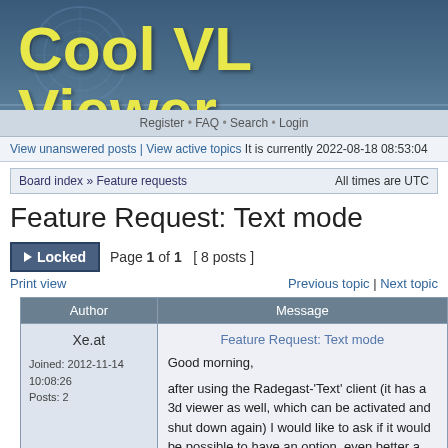Cool VL Viewer
Register • FAQ • Search • Login
View unanswered posts | View active topics It is currently 2022-08-18 08:53:04
Board index » Feature requests    All times are UTC
Feature Request: Text mode
▶ Locked  Page 1 of 1  [ 8 posts ]
Print view    Previous topic | Next topic
| Author | Message |
| --- | --- |
| Xe.at

Joined: 2012-11-14 10:08:26
Posts: 2 | Feature Request: Text mode

Good morning,

after using the Radegast-'Text' client (it has a 3d viewer as well, which can be activated and shut down again) I would like to ask if it would be possible to have an option, even better a keyboard shortcut to shut the rendering engine down or put into a suspended state (frozen picture would be as |